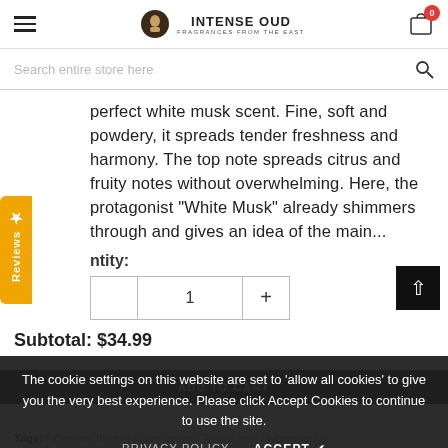INTENSE OUD — FRAGRANCES FROM THE EAST
Search entire store here
perfect white musk scent. Fine, soft and powdery, it spreads tender freshness and harmony. The top note spreads citrus and fruity notes without overwhelming. Here, the protagonist "White Musk" already shimmers through and gives an idea of the main...
Quantity:
1
Subtotal: $34.99
The cookie settings on this website are set to 'allow all cookies' to give you the very best experience. Please click Accept Cookies to continue to use the site.
PRIVACY POLICY  ACCEPT ✔
Tags: / @enderUnisex / @perfeymen_Atacoloque / type:oriental